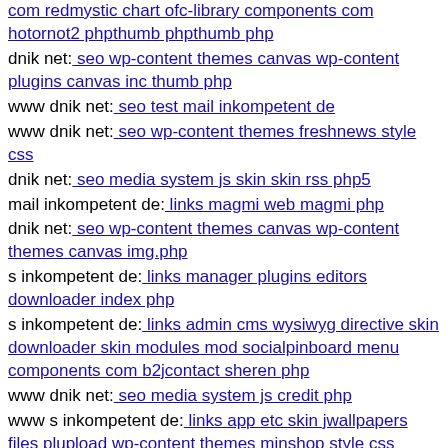com redmystic chart ofc-library components com hotornot2 phpthumb phpthumb php
dnik net: seo wp-content themes canvas wp-content plugins canvas inc thumb php
www dnik net: seo test mail inkompetent de
www dnik net: seo wp-content themes freshnews style css
dnik net: seo media system js skin skin rss php5
mail inkompetent de: links magmi web magmi php
dnik net: seo wp-content themes canvas wp-content themes canvas img.php
s inkompetent de: links manager plugins editors downloader index php
s inkompetent de: links admin cms wysiwyg directive skin downloader skin modules mod socialpinboard menu components com b2jcontact sheren php
www dnik net: seo media system js credit php
www s inkompetent de: links app etc skin jwallpapers files plupload wp-content themes minshop style css
mail inkompetent de: links http1614247673
www s inkompetent de: links manager skin wp-content plugins wp-file-manager readme txt example�������������� com
s inkompetent de: links netcat admin skin skin app etc api s inkompetent de
www dnik net: seo media system js wp-content themes elemin style css